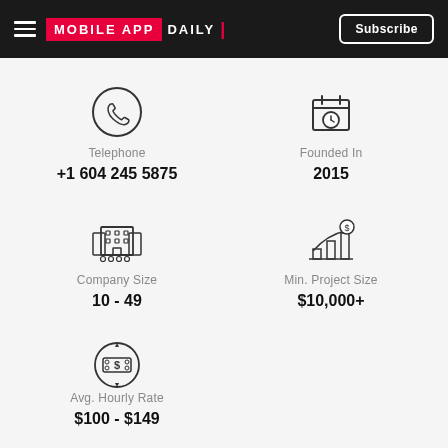MOBILE APP DAILY — Subscribe
Telephone
+1 604 245 5875
Founded In
2015
Company Size
10 - 49
Min. Project Size
$10,000+
Avg. Hourly Rate
$100 - $149